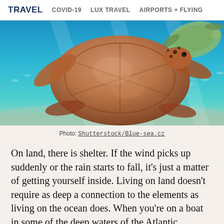TRAVEL  COVID-19  LUX TRAVEL  AIRPORTS + FLYING
[Figure (photo): Underwater photograph of sea turtles swimming in clear turquoise ocean water, with small fish visible in the background and sandy bottom below.]
Photo: Shutterstock/Blue-sea.cz
On land, there is shelter. If the wind picks up suddenly or the rain starts to fall, it’s just a matter of getting yourself inside. Living on land doesn’t require as deep a connection to the elements as living on the ocean does. When you’re on a boat in some of the deep waters of the Atlantic…